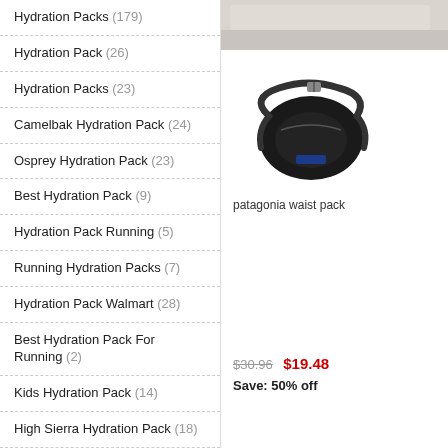Hydration Packs (179)
Hydration Pack (26)
Hydration Packs (23)
Camelbak Hydration Pack (24)
Osprey Hydration Pack (23)
Best Hydration Pack (9)
Hydration Pack Running (5)
Running Hydration Packs (7)
Hydration Pack Walmart (28)
Best Hydration Pack For Running (2)
Kids Hydration Pack (14)
High Sierra Hydration Pack (18)
Waist Packs (226)
Waist Packs (19)
Waist Pack (28)
[Figure (photo): Black Patagonia waist pack / fanny pack]
patagonia waist pack
$30.96  $19.48  Save: 50% off